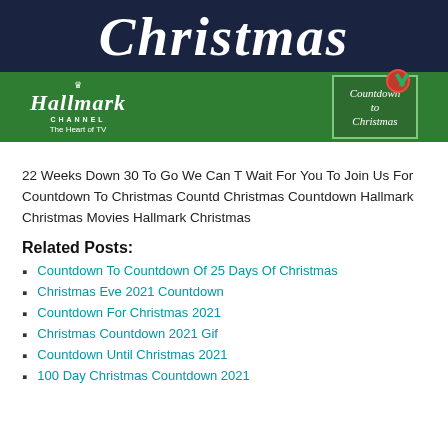[Figure (illustration): Hallmark Channel Countdown to Christmas banner — dark navy top section with cursive white 'Christmas' text, green bottom section with Hallmark Channel logo and 'Countdown to Christmas' gift tag decoration with red ribbon]
22 Weeks Down 30 To Go We Can T Wait For You To Join Us For Countdown To Christmas Countd Christmas Countdown Hallmark Christmas Movies Hallmark Christmas
Related Posts:
Countdown To Countdown Of 25 Days Of Christmas
Christmas Eve 2021 Countdown
Countdown For Christmas 2021
Christmas Countdown 2021 Gif
Countdown Until Christmas 2021
100 Day Christmas Countdown 2021